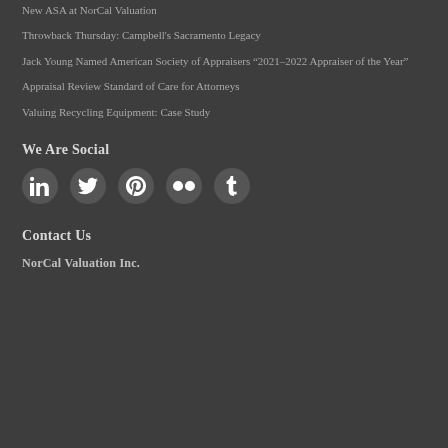New ASA at NorCal Valuation
Throwback Thursday: Campbell's Sacramento Legacy
Jack Young Named American Society of Appraisers "2021–2022 Appraiser of the Year"
Appraisal Review Standard of Care for Attorneys
Valuing Recycling Equipment: Case Study
We Are Social
[Figure (infographic): Row of social media icons: LinkedIn, Twitter, Pinterest, Flickr, Tumblr]
Contact Us
NorCal Valuation Inc.